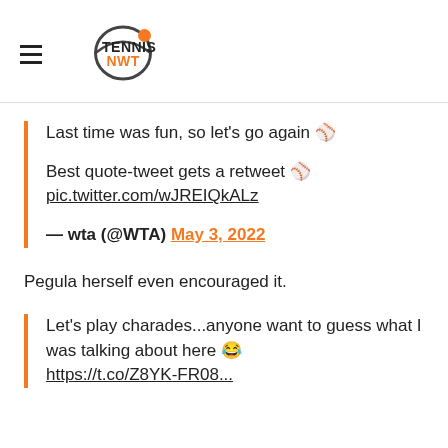TENNIS NWT (logo)
Last time was fun, so let’s go again 🎾

Best quote-tweet gets a retweet 🎾
pic.twitter.com/wJREIQkALz

— wta (@WTA) May 3, 2022
Pegula herself even encouraged it.
Let’s play charades…anyone want to guess what I was talking about here 😂
https://...